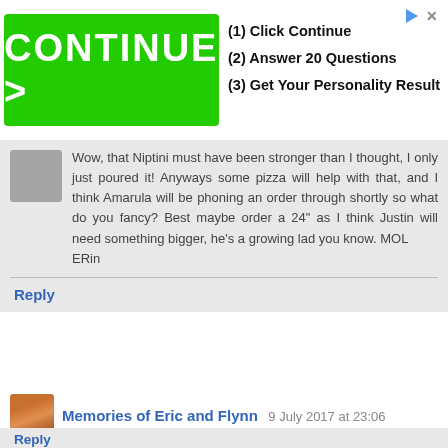[Figure (screenshot): Advertisement banner with green CONTINUE > button and three steps: (1) Click Continue, (2) Answer 20 Questions, (3) Get Your Personality Result]
Wow, that Niptini must have been stronger than I thought, I only just poured it! Anyways some pizza will help with that, and I think Amarula will be phoning an order through shortly so what do you fancy? Best maybe order a 24" as I think Justin will need something bigger, he's a growing lad you know. MOL
ERin
Reply
Memories of Eric and Flynn 9 July 2017 at 23:06
I'd love to see Scotland Yard in kilts! Do you think Justin Bieber might wear one to deliver the pizzas too?
Reply